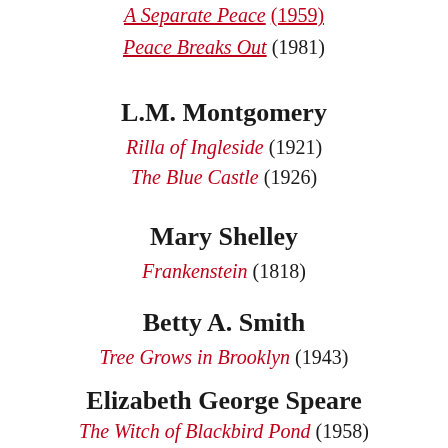A Separate Peace (1959)
Peace Breaks Out (1981)
L.M. Montgomery
Rilla of Ingleside (1921)
The Blue Castle (1926)
Mary Shelley
Frankenstein (1818)
Betty A. Smith
Tree Grows in Brooklyn (1943)
Elizabeth George Speare
The Witch of Blackbird Pond (1958)
The Bronze Bow (1961)